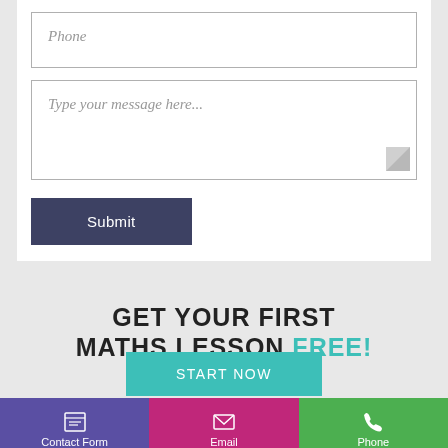[Figure (screenshot): Contact form with Phone input field and message textarea with placeholder text]
Phone
Type your message here...
Submit
GET YOUR FIRST MATHS LESSON FREE!
START NOW
Contact Form
Email
Phone